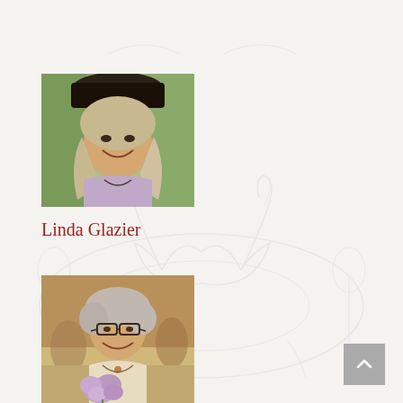[Figure (photo): Smiling woman with wavy blonde-gray hair, wearing a light purple tank top and necklace, outdoors with trees in background, a dark hat or animal visible above her head]
Linda Glazier
[Figure (photo): Older woman with short curly gray hair, wearing glasses and a light-colored blouse, smiling and holding purple flowers, seated in an indoor setting]